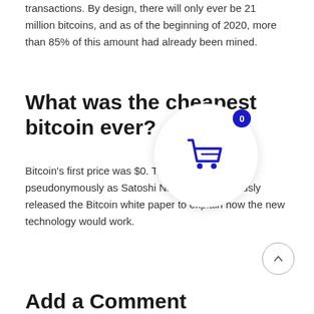transactions. By design, there will only ever be 21 million bitcoins, and as of the beginning of 2020, more than 85% of this amount had already been mined.
What was the cheapest bitcoin ever?
Bitcoin's first price was $0. The creator, known pseudonymously as Satoshi Nakaomoto, famously released the Bitcoin white paper to explain how the new technology would work.
[Figure (illustration): Shopping cart icon inside a white circular overlay with a dark blue badge showing '0']
[Figure (illustration): Back to top arrow button, circular with border]
Add a Comment